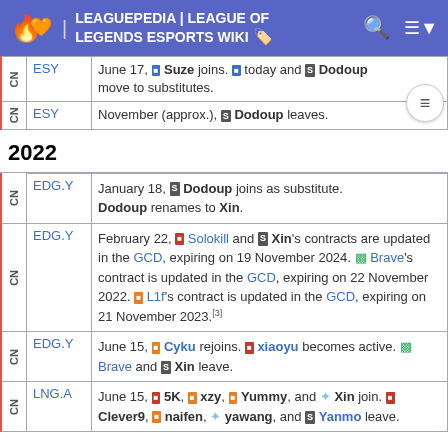LEAGUEPEDIA | LEAGUE OF LEGENDS ESPORTS WIKI
| Region | Team | Event |
| --- | --- | --- |
| CN | ESY | June 17, [icon] Suze joins. [icon] today and S Dodoup move to substitutes. |
| CN | ESY | November (approx.), S Dodoup leaves. |
2022
| Region | Team | Event |
| --- | --- | --- |
| CN | EDG.Y | January 18, S Dodoup joins as substitute. Dodoup renames to Xin. |
| CN | EDG.Y | February 22, [icon] Solokill and S Xin's contracts are updated in the GCD, expiring on 19 November 2024. Brave's contract is updated in the GCD, expiring on 22 November 2022. L1f's contract is updated in the GCD, expiring on 21 November 2023.[3] |
| CN | EDG.Y | June 15, [icon] Cyku rejoins. [icon] xiaoyu becomes active. Brave and S Xin leave. |
| CN | LNG.A | June 15, [icon] 5K, [icon] xzy, [icon] Yummy, and [icon] Xin join. [icon] Clever9, [icon] naifen, [icon] yawang, and S Yanmo leave. |